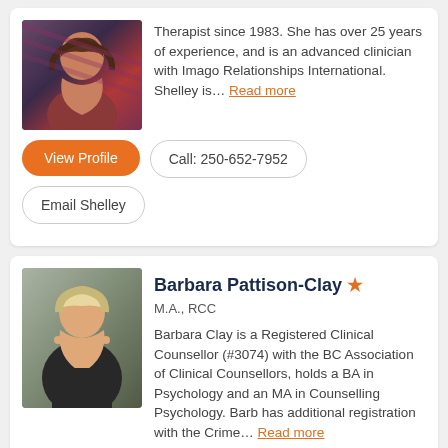Therapist since 1983. She has over 25 years of experience, and is an advanced clinician with Imago Relationships International. Shelley is... Read more
View Profile
Call: 250-652-7952
Email Shelley
Barbara Pattison-Clay ★
M.A., RCC
Barbara Clay is a Registered Clinical Counsellor (#3074) with the BC Association of Clinical Counsellors, holds a BA in Psychology and an MA in Counselling Psychology. Barb has additional registration with the Crime... Read more
View Profile
Call: 604-250-9056